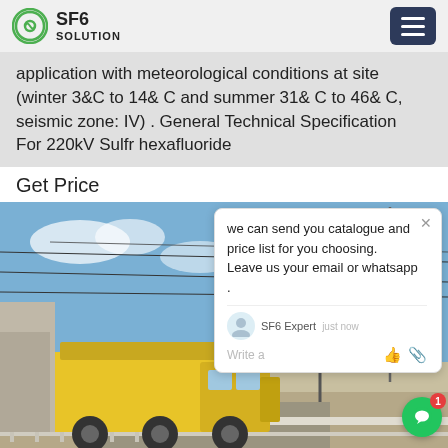SF6 SOLUTION
application with meteorological conditions at site (winter 3&C to 14& C and summer 31& C to 46& C, seismic zone: IV) . General Technical Specification For 220kV Sulfr hexafluoride
Get Price
[Figure (photo): A yellow truck at an electrical substation with high-voltage transmission lines and towers in the background under a partly cloudy sky.]
we can send you catalogue and price list for you choosing. Leave us your email or whatsapp .